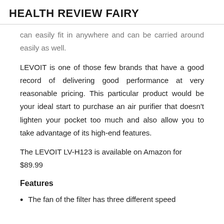HEALTH REVIEW FAIRY
can easily fit in anywhere and can be carried around easily as well.
LEVOIT is one of those few brands that have a good record of delivering good performance at very reasonable pricing. This particular product would be your ideal start to purchase an air purifier that doesn't lighten your pocket too much and also allow you to take advantage of its high-end features.
The LEVOIT LV-H123 is available on Amazon for $89.99
Features
The fan of the filter has three different speed